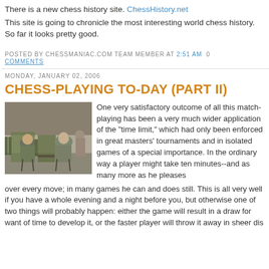There is a new chess history site. ChessHistory.net
This site is going to chronicle the most interesting world chess history. So far it looks pretty good.
POSTED BY CHESSMANIAC.COM TEAM MEMBER AT 2:51 AM   0
COMMENTS
MONDAY, JANUARY 02, 2006
CHESS-PLAYING TO-DAY (PART II)
[Figure (photo): Two men seated on chairs outdoors, appearing to play chess, with green chairs and other people visible in the background.]
One very satisfactory outcome of all this match-playing has been a very much wider application of the "time limit," which had only been enforced in great masters' tournaments and in isolated games of a special importance. In the ordinary way a player might take ten minutes--and as many more as he pleases over every move; in many games he can and does still. This is all very well if you have a whole evening and a night before you, but otherwise one of two things will probably happen: either the game will result in a draw for want of time to develop it, or the faster player will throw it away in sheer dis